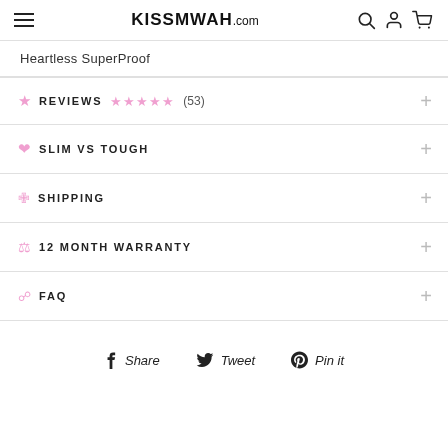KISSMWAH.com
Heartless SuperProof
REVIEWS ★★★★★ (53)
SLIM VS TOUGH
SHIPPING
12 MONTH WARRANTY
FAQ
Share  Tweet  Pin it